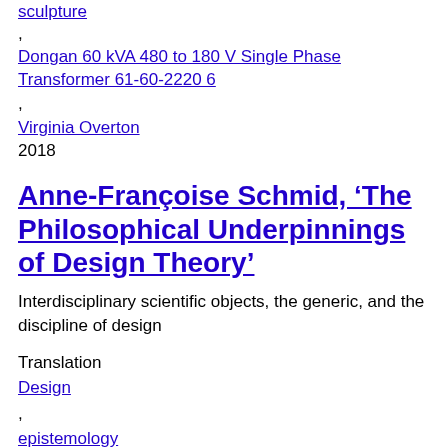sculpture
,
Dongan 60 kVA 480 to 180 V Single Phase Transformer 61-60-2220 6
,
Virginia Overton
2018
Anne-Françoise Schmid, ‘The Philosophical Underpinnings of Design Theory’
Interdisciplinary scientific objects, the generic, and the discipline of design
Translation
Design
,
epistemology
,
generic
,
integrative object